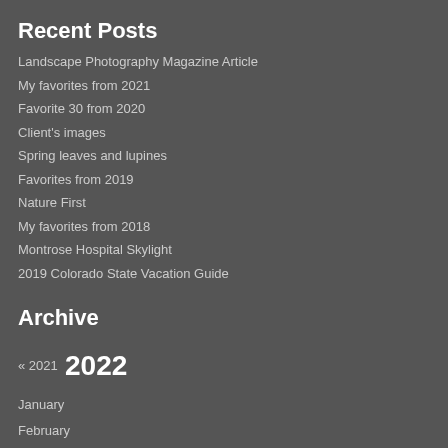Recent Posts
Landscape Photography Magazine Article
My favorites from 2021
Favorite 30 from 2020
Client's images
Spring leaves and lupines
Favorites from 2019
Nature First
My favorites from 2018
Montrose Hospital Skylight
2019 Colorado State Vacation Guide
Archive
« 2021 2022
January
February
March
April
May
June